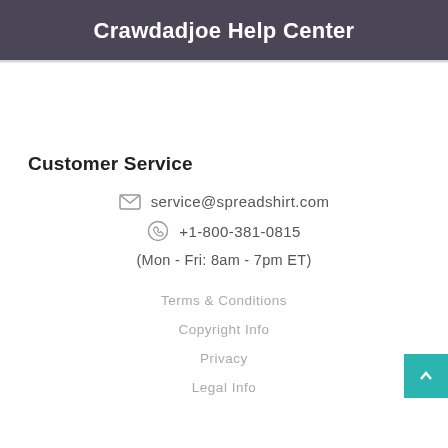Crawdadjoe Help Center
Customer Service
service@spreadshirt.com
+1-800-381-0815
(Mon - Fri: 8am - 7pm ET)
Terms & Conditions
Copyright Info
Privacy
Legal Info